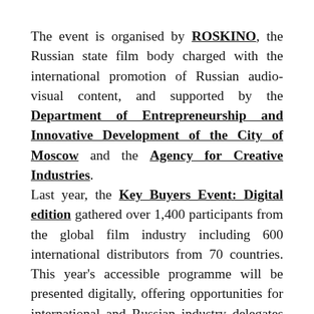The event is organised by ROSKINO, the Russian state film body charged with the international promotion of Russian audio-visual content, and supported by the Department of Entrepreneurship and Innovative Development of the City of Moscow and the Agency for Creative Industries.
Last year, the Key Buyers Event: Digital edition gathered over 1,400 participants from the global film industry including 600 international distributors from 70 countries. This year's accessible programme will be presented digitally, offering opportunities for international and Russian industry delegates to participate in a significantly expanded programme to include talks and panel